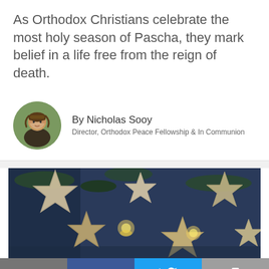As Orthodox Christians celebrate the most holy season of Pascha, they mark belief in a life free from the reign of death.
By Nicholas Sooy
Director, Orthodox Peace Fellowship & In Communion
[Figure (photo): Photo of wooden star-shaped ornaments and candles arranged on a dark blue fabric background with evergreen branches]
[Figure (infographic): Social media sharing bar with email, Facebook, Twitter, and print buttons]